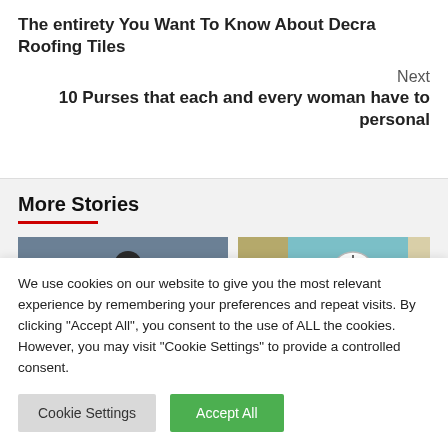The entirety You Want To Know About Decra Roofing Tiles
Next
10 Purses that each and every woman have to personal
More Stories
[Figure (photo): Photo of a person against a gray-blue background]
[Figure (photo): Photo of a clock on a wall with colored panels]
We use cookies on our website to give you the most relevant experience by remembering your preferences and repeat visits. By clicking "Accept All", you consent to the use of ALL the cookies. However, you may visit "Cookie Settings" to provide a controlled consent.